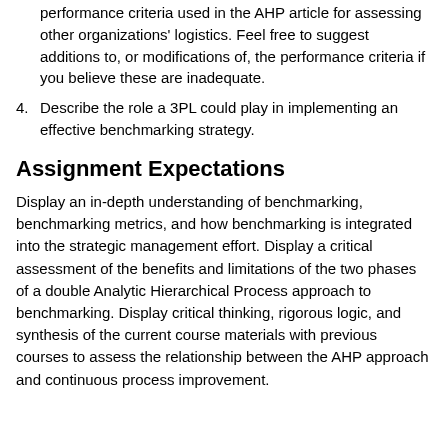performance criteria used in the AHP article for assessing other organizations' logistics. Feel free to suggest additions to, or modifications of, the performance criteria if you believe these are inadequate.
4. Describe the role a 3PL could play in implementing an effective benchmarking strategy.
Assignment Expectations
Display an in-depth understanding of benchmarking, benchmarking metrics, and how benchmarking is integrated into the strategic management effort. Display a critical assessment of the benefits and limitations of the two phases of a double Analytic Hierarchical Process approach to benchmarking. Display critical thinking, rigorous logic, and synthesis of the current course materials with previous courses to assess the relationship between the AHP approach and continuous process improvement.